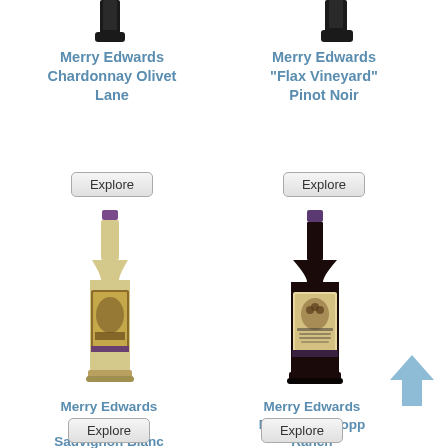[Figure (photo): Partial top of wine bottle – Merry Edwards Chardonnay Olivet Lane, top cropped, left column]
[Figure (photo): Partial top of wine bottle – Merry Edwards Flax Vineyard Pinot Noir, top cropped, right column]
Merry Edwards Chardonnay Olivet Lane
Merry Edwards "Flax Vineyard" Pinot Noir
Explore
Explore
[Figure (photo): Full wine bottle – Merry Edwards Late Harvest Sauvignon Blanc, white wine, purple foil cap, ornate label]
[Figure (photo): Full wine bottle – Merry Edwards Pinot Noir Klopp Ranch, dark red wine, purple foil cap, ornate label]
Merry Edwards Late Harvest Sauvignon Blanc
Merry Edwards Pinot Noir Klopp Ranch
Explore
Explore
[Figure (illustration): Blue/grey upward-pointing arrow icon]